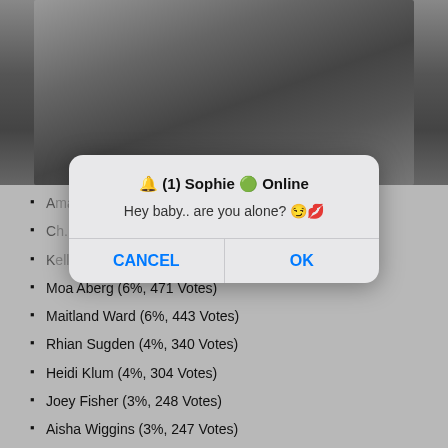[Figure (photo): Grayscale photo of a person wearing dark high-waisted underwear/shorts, torso/lower body visible]
A[truncated] (partially obscured by dialog)
C[truncated] (partially obscured by dialog)
K[truncated] (partially obscured by dialog)
Moa Aberg (6%, 471 Votes)
Maitland Ward (6%, 443 Votes)
Rhian Sugden (4%, 340 Votes)
Heidi Klum (4%, 304 Votes)
Joey Fisher (3%, 248 Votes)
Aisha Wiggins (3%, 247 Votes)
Tove Lo (3%, 228 Votes)
Mellisa Clarke (3%, 212 Votes)
Courtnie Quinlan (3%, 205 Votes)
🔔 (1) Sophie 🟢 Online
Hey baby.. are you alone? 😏💋
CANCEL
OK